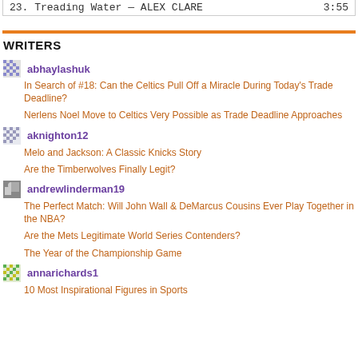| 23.  Treading Water — ALEX CLARE | 3:55 |
WRITERS
abhaylashuk
In Search of #18: Can the Celtics Pull Off a Miracle During Today's Trade Deadline?
Nerlens Noel Move to Celtics Very Possible as Trade Deadline Approaches
aknighton12
Melo and Jackson: A Classic Knicks Story
Are the Timberwolves Finally Legit?
andrewlinderman19
The Perfect Match: Will John Wall & DeMarcus Cousins Ever Play Together in the NBA?
Are the Mets Legitimate World Series Contenders?
The Year of the Championship Game
annarichards1
10 Most Inspirational Figures in Sports